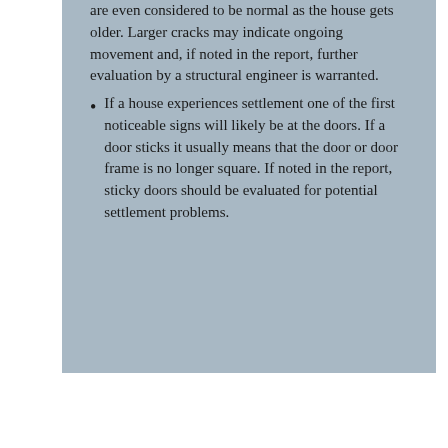are even considered to be normal as the house gets older. Larger cracks may indicate ongoing movement and, if noted in the report, further evaluation by a structural engineer is warranted.
If a house experiences settlement one of the first noticeable signs will likely be at the doors. If a door sticks it usually means that the door or door frame is no longer square. If noted in the report, sticky doors should be evaluated for potential settlement problems.